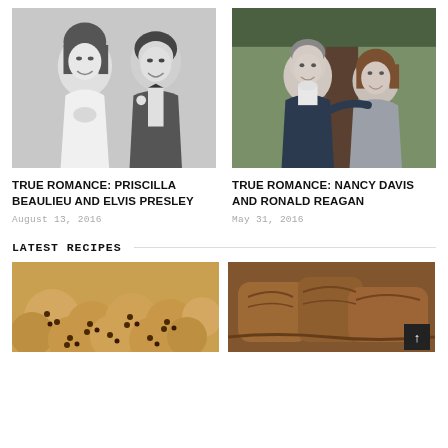[Figure (photo): Black and white photo of Priscilla Beaulieu and Elvis Presley smiling, appearing to be at their wedding]
[Figure (photo): Color photo of Ronald Reagan and Nancy Davis hugging outdoors near a tree, both smiling]
TRUE ROMANCE: PRISCILLA BEAULIEU AND ELVIS PRESLEY
TRUE ROMANCE: NANCY DAVIS AND RONALD REAGAN
August 13, 2016
May 31, 2016
LATEST RECIPES
[Figure (photo): Close-up photo of chocolate chip cookies piled together]
[Figure (photo): Photo of bread or baked goods, warm tones]